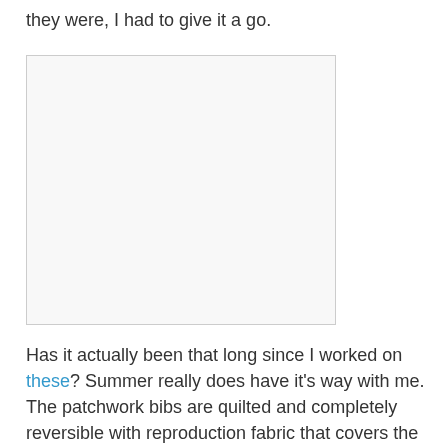they were, I had to give it a go.
[Figure (photo): A mostly blank/white image placeholder with a light border, approximately square in shape.]
Has it actually been that long since I worked on these? Summer really does have it's way with me. The patchwork bibs are quilted and completely reversible with reproduction fabric that covers the front and a green linen on the back. Can I just say how much I love linen? I couldn't resist this particular shade of green.